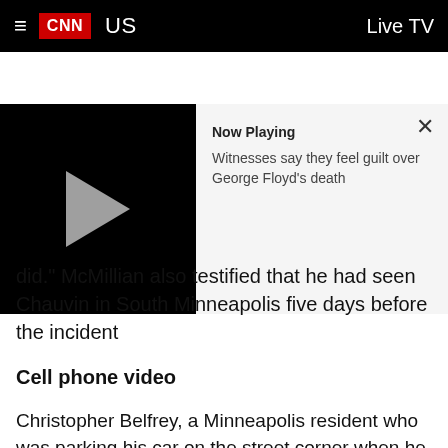≡  CNN  US    Live TV
[Figure (screenshot): CNN video player showing a paused video with a play button on a black background. On the right side a white panel shows 'Now Playing' with description 'Witnesses say they feel guilt over George Floyd's death' and an X close button.]
did." McMillian also testified that he had seen Chauvin in South Minneapolis five days before the incident
Cell phone video
Christopher Belfrey, a Minneapolis resident who was parking his car on the street corner when he saw officers approach a vehicle Floyd was in, said he shot cell phone video that showed Floyd handcuffed and sitting on the ground outside after officers pulled him from the car.
Belfrey said he started recording when he saw one of